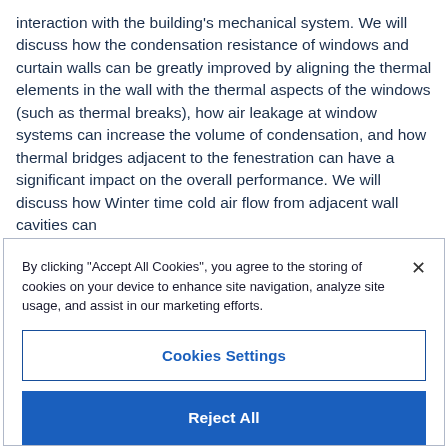interaction with the building's mechanical system. We will discuss how the condensation resistance of windows and curtain walls can be greatly improved by aligning the thermal elements in the wall with the thermal aspects of the windows (such as thermal breaks), how air leakage at window systems can increase the volume of condensation, and how thermal bridges adjacent to the fenestration can have a significant impact on the overall performance. We will discuss how Winter time cold air flow from adjacent wall cavities can
[Figure (screenshot): Cookie consent dialog overlay with 'Cookies Settings' and 'Reject All' buttons and a close (X) button.]